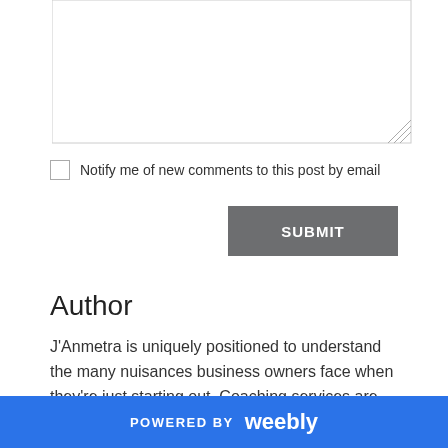[Figure (screenshot): A textarea input box with a resize handle in the bottom-right corner]
Notify me of new comments to this post by email
SUBMIT
Author
J'Anmetra is uniquely positioned to understand the many nuisances business owners face when they're just starting out. Coaching services are provided online, via email, in person,
POWERED BY weebly